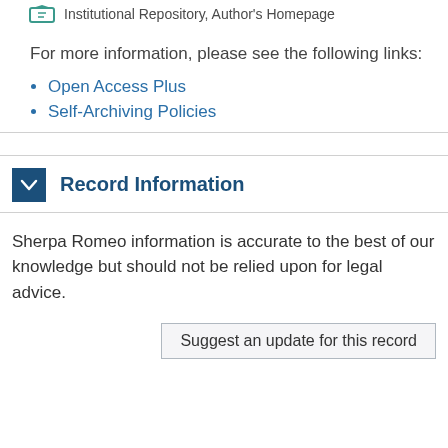Institutional Repository, Author's Homepage
For more information, please see the following links:
Open Access Plus
Self-Archiving Policies
Record Information
Sherpa Romeo information is accurate to the best of our knowledge but should not be relied upon for legal advice.
Suggest an update for this record